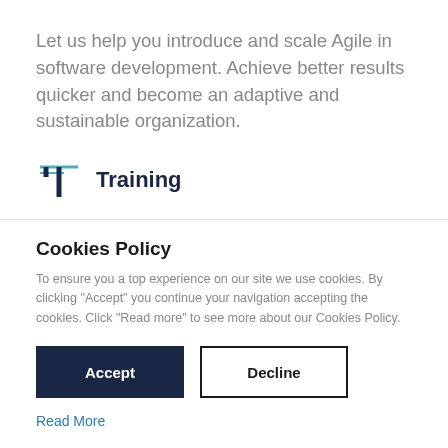Let us help you introduce and scale Agile in software development. Achieve better results quicker and become an adaptive and sustainable organization.
Training
Learn through our training courses, customized for
Cookies Policy
To ensure you a top experience on our site we use cookies. By clicking "Accept" you continue your navigation accepting the cookies. Click "Read more" to see more about our Cookies Policy.
Accept   Decline
Read More